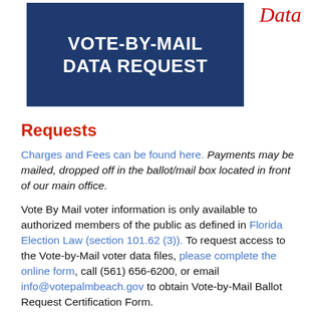VOTE-BY-MAIL DATA REQUEST
Data
Requests
Charges and Fees can be found here. Payments may be mailed, dropped off in the ballot/mail box located in front of our main office.
Vote By Mail voter information is only available to authorized members of the public as defined in Florida Election Law (section 101.62 (3)). To request access to the Vote-by-Mail voter data files, please complete the online form, call (561) 656-6200, or email info@votepalmbeach.gov to obtain Vote-by-Mail Ballot Request Certification Form.
If you wish to review ballot materials pursuant to F.S. 101.62, you must complete the Vote-by-Mail Ballot